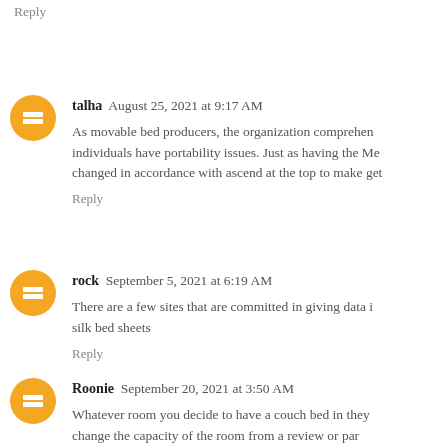Reply
talha  August 25, 2021 at 9:17 AM
As movable bed producers, the organization comprehends individuals have portability issues. Just as having the Me changed in accordance with ascend at the top to make get
Reply
rock  September 5, 2021 at 6:19 AM
There are a few sites that are committed in giving data in silk bed sheets
Reply
Roonie  September 20, 2021 at 3:50 AM
Whatever room you decide to have a couch bed in they change the capacity of the room from a review or par